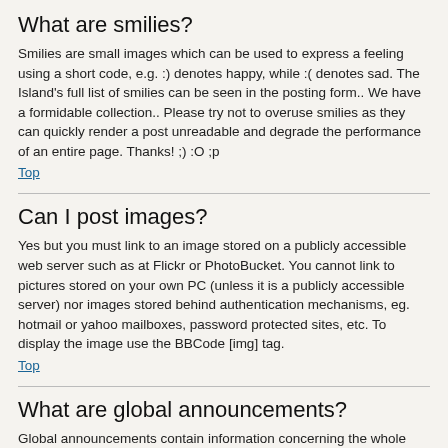What are smilies?
Smilies are small images which can be used to express a feeling using a short code, e.g. :) denotes happy, while :( denotes sad. The Island's full list of smilies can be seen in the posting form.. We have a formidable collection.. Please try not to overuse smilies as they can quickly render a post unreadable and degrade the performance of an entire page. Thanks! ;) :O ;p
Top
Can I post images?
Yes but you must link to an image stored on a publicly accessible web server such as at Flickr or PhotoBucket. You cannot link to pictures stored on your own PC (unless it is a publicly accessible server) nor images stored behind authentication mechanisms, eg. hotmail or yahoo mailboxes, password protected sites, etc. To display the image use the BBCode [img] tag.
Top
What are global announcements?
Global announcements contain information concerning the whole site or forum. They will appear at the top of every forum and within your User Control Panel. All announcements carry a megaphone icon.
Top
What are announcements?
Similar to global announcements but more specific to the forum they appear within. Users are encouraged to read them when possible because they normally contain information of common interest. If you have some information to share